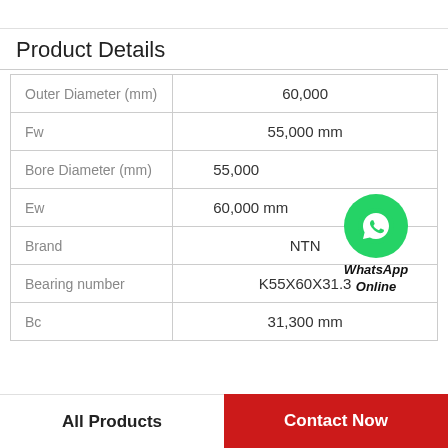Product Details
| Property | Value |
| --- | --- |
| Outer Diameter (mm) | 60,000 |
| Fw | 55,000 mm |
| Bore Diameter (mm) | 55,000 |
| Ew | 60,000 mm |
| Brand | NTN |
| Bearing number | K55X60X31.3 |
| Bc | 31,300 mm |
[Figure (logo): WhatsApp Online button with green phone icon and italic bold text 'WhatsApp Online']
All Products | Contact Now